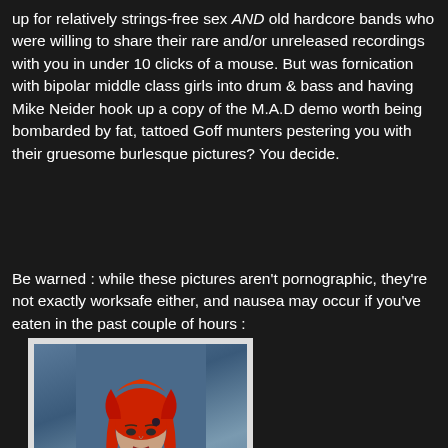up for relatively strings-free sex AND old hardcore bands who were willing to share their rare and/or unreleased recordings with you in under 10 clicks of a mouse. But was fornication with bipolar middle class girls into drum & bass and having Mike Neider hook up a copy of the M.A.D demo worth being bombarded by fat, tattoed Goff munters pestering you with their gruesome burlesque pictures? You decide.
Be warned : while these pictures aren't pornographic, they're not exactly worksafe either, and nausea may occur if you've eaten in the past couple of hours :
[Figure (photo): A woman with red hair wearing a red top and black jacket, with visible tattoos on her arms and neck, seated in front of a blue-grey background.]